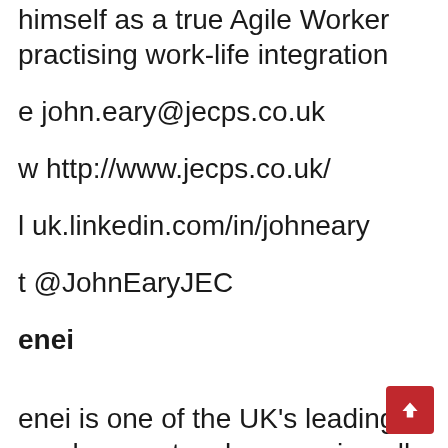himself as a true Agile Worker practising work-life integration
e john.eary@jecps.co.uk
w http://www.jecps.co.uk/
l uk.linkedin.com/in/johneary
t @JohnEaryJEC
enei
enei is one of the UK's leading employer networks, covering all